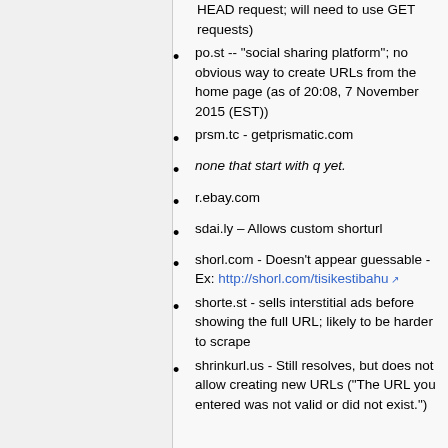HEAD request; will need to use GET requests)
po.st -- "social sharing platform"; no obvious way to create URLs from the home page (as of 20:08, 7 November 2015 (EST))
prsm.tc - getprismatic.com
none that start with q yet.
r.ebay.com
sdai.ly – Allows custom shorturl
shorl.com - Doesn't appear guessable - Ex: http://shorl.com/tisikestibahu
shorte.st - sells interstitial ads before showing the full URL; likely to be harder to scrape
shrinkurl.us - Still resolves, but does not allow creating new URLs ("The URL you entered was not valid or did not exist.")